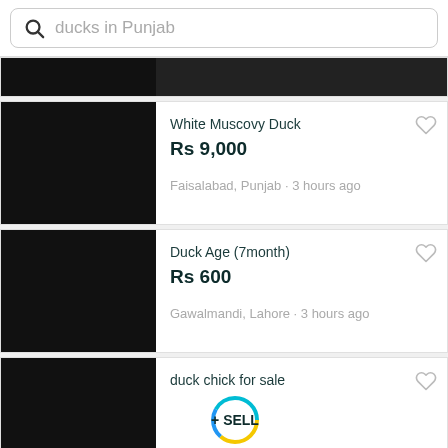ducks in Punjab
[Figure (screenshot): Partial listing card with black image thumbnail, cropped at top]
White Muscovy Duck
Rs 9,000
Faisalabad, Punjab • 3 hours ago
Duck Age (7month)
Rs 600
Gawalmandi, Lahore • 3 hours ago
duck chick for sale
Gujrat, Punjab • 4 hours ago